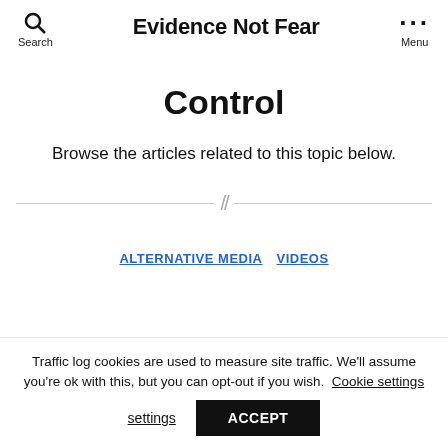Evidence Not Fear
Control
Browse the articles related to this topic below.
ALTERNATIVE MEDIA   VIDEOS
Traffic log cookies are used to measure site traffic. We'll assume you're ok with this, but you can opt-out if you wish. Cookie settings ACCEPT